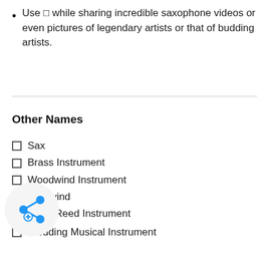Use □ while sharing incredible saxophone videos or even pictures of legendary artists or that of budding artists.
Other Names
□ Sax
□ Brass Instrument
□ Woodwind Instrument
□ nodwind
□ ngle-Reed Instrument
□ Wedding Musical Instrument